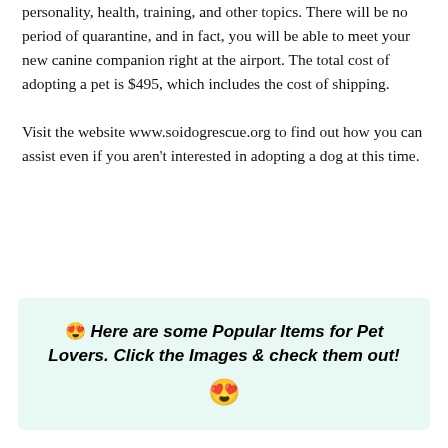personality, health, training, and other topics. There will be no period of quarantine, and in fact, you will be able to meet your new canine companion right at the airport. The total cost of adopting a pet is $495, which includes the cost of shipping.

Visit the website www.soidogrescue.org to find out how you can assist even if you aren't interested in adopting a dog at this time.
😍 Here are some Popular Items for Pet Lovers. Click the Images & check them out! 😍